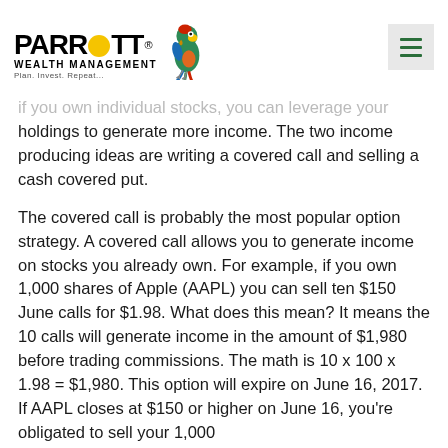PARROTT WEALTH MANAGEMENT — Plan. Invest. Repeat.
if you own individual stocks, you can leverage your holdings to generate more income.  The two income producing ideas are writing a covered call and selling a cash covered put.
The covered call is probably the most popular option strategy.   A covered call allows you to generate income on stocks you already own.   For example, if you own 1,000 shares of Apple (AAPL) you can sell ten $150 June calls for $1.98.  What does this mean?  It means the 10 calls will generate income in the amount of $1,980 before trading commissions.  The math is 10 x 100 x 1.98 = $1,980.  This option will expire on June 16, 2017.  If AAPL closes at $150 or higher on June 16, you're obligated to sell your 1,000